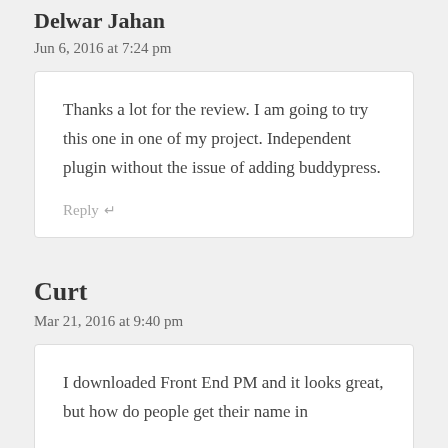Delwar Jahan
Jun 6, 2016 at 7:24 pm
Thanks a lot for the review. I am going to try this one in one of my project. Independent plugin without the issue of adding buddypress.
Reply ↵
Curt
Mar 21, 2016 at 9:40 pm
I downloaded Front End PM and it looks great, but how do people get their name in